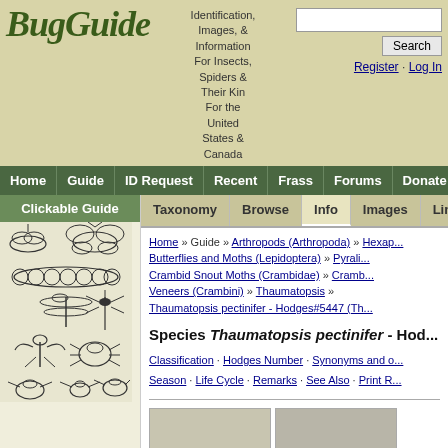[Figure (logo): BugGuide logo with stylized green text]
Identification, Images, & Information For Insects, Spiders & Their Kin For the United States & Canada
Search | Register · Log In
Home | Guide | ID Request | Recent | Frass | Forums | Donate | Help
Clickable Guide
[Figure (illustration): Clickable guide showing various insects and arthropods in black and white illustration]
Taxonomy | Browse | Info | Images | Links
Home » Guide » Arthropods (Arthropoda) » Hexapods... Butterflies and Moths (Lepidoptera) » Pyralid... Crambid Snout Moths (Crambidae) » Cramb... Veneers (Crambini) » Thaumatopsis » Thaumatopsis pectinifer - Hodges#5447 (Th...
Species Thaumatopsis pectinifer - Hodges#...
Classification · Hodges Number · Synonyms and o... Season · Life Cycle · Remarks · See Also · Print R...
[Figure (photo): Two thumbnail photos of the moth species Thaumatopsis pectinifer]